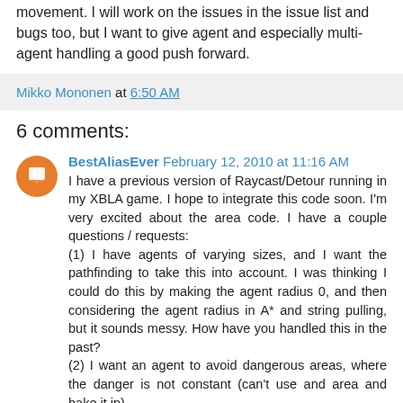movement. I will work on the issues in the issue list and bugs too, but I want to give agent and especially multi-agent handling a good push forward.
Mikko Mononen at 6:50 AM
6 comments:
BestAliasEver February 12, 2010 at 11:16 AM
I have a previous version of Raycast/Detour running in my XBLA game. I hope to integrate this code soon. I'm very excited about the area code. I have a couple questions / requests:
(1) I have agents of varying sizes, and I want the pathfinding to take this into account. I was thinking I could do this by making the agent radius 0, and then considering the agent radius in A* and string pulling, but it sounds messy. How have you handled this in the past?
(2) I want an agent to avoid dangerous areas, where the danger is not constant (can't use and area and bake it in).